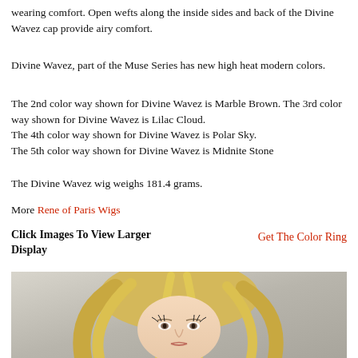wearing comfort. Open wefts along the inside sides and back of the Divine Wavez cap provide airy comfort.
Divine Wavez, part of the Muse Series has new high heat modern colors.
The 2nd color way shown for Divine Wavez is Marble Brown. The 3rd color way shown for Divine Wavez is Lilac Cloud.
The 4th color way shown for Divine Wavez is Polar Sky.
The 5th color way shown for Divine Wavez is Midnite Stone
The Divine Wavez wig weighs 181.4 grams.
More Rene of Paris Wigs
Click Images To View Larger Display
Get The Color Ring
[Figure (photo): Photo of a woman wearing a blonde straight wig (Divine Wavez), showing the style from the front/side angle against a grey background.]